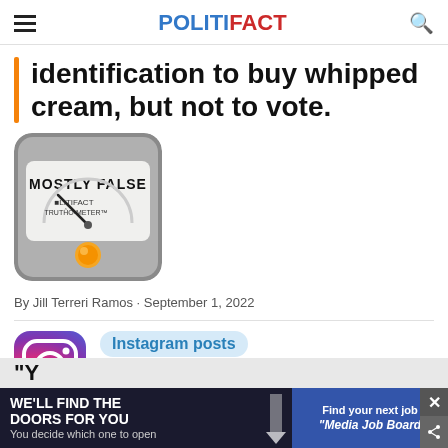POLITIFACT
identification to buy whipped cream, but not to vote.
[Figure (illustration): PolitiFact Truth-O-Meter gauge showing 'MOSTLY FALSE' rating with needle pointing toward mostly false and an orange/amber light at the bottom.]
By Jill Terreri Ramos • September 1, 2022
[Figure (logo): Instagram logo circle with gradient colors (purple, pink, orange). Below the logo is a quote marks icon and an orange downward arrow.]
Instagram posts
stated on August 30, 2022 in Instagram p
[Figure (infographic): Advertisement banner: 'WE'LL FIND THE DOORS FOR YOU - You decide which one to open' on dark background, with 'Find your next job' and 'Media Job Board' on blue right panel.]